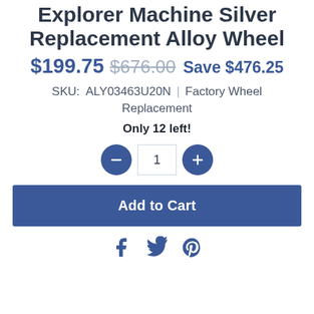Explorer Machine Silver Replacement Alloy Wheel
$199.75  $676.00  Save $476.25
SKU:  ALY03463U20N  |  Factory Wheel Replacement
Only 12 left!
[Figure (other): Quantity selector with minus button, quantity input showing 1, and plus button]
Add to Cart
[Figure (other): Social share icons: Facebook, Twitter, Pinterest]